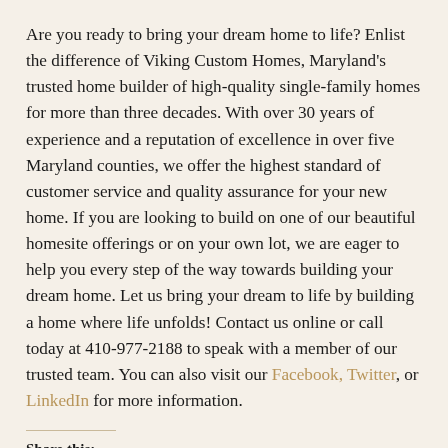Are you ready to bring your dream home to life? Enlist the difference of Viking Custom Homes, Maryland's trusted home builder of high-quality single-family homes for more than three decades. With over 30 years of experience and a reputation of excellence in over five Maryland counties, we offer the highest standard of customer service and quality assurance for your new home. If you are looking to build on one of our beautiful homesite offerings or on your own lot, we are eager to help you every step of the way towards building your dream home. Let us bring your dream to life by building a home where life unfolds! Contact us online or call today at 410-977-2188 to speak with a member of our trusted team. You can also visit our Facebook, Twitter, or LinkedIn for more information.
Share this: